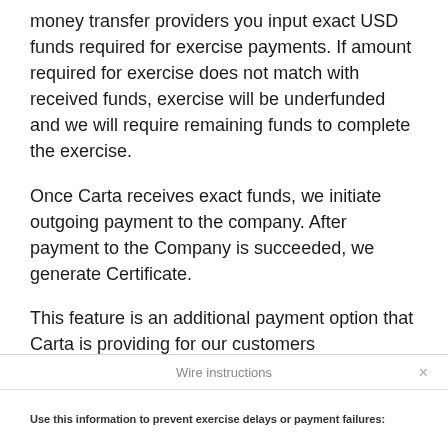money transfer providers you input exact USD funds required for exercise payments. If amount required for exercise does not match with received funds, exercise will be underfunded and we will require remaining funds to complete the exercise.
Once Carta receives exact funds, we initiate outgoing payment to the company. After payment to the Company is succeeded, we generate Certificate.
This feature is an additional payment option that Carta is providing for our customers
Wire instructions
Use this information to prevent exercise delays or payment failures: